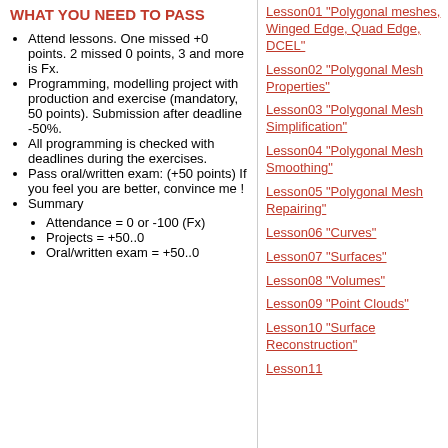WHAT YOU NEED TO PASS
Attend lessons. One missed +0 points. 2 missed 0 points, 3 and more is Fx.
Programming, modelling project with production and exercise (mandatory, 50 points). Submission after deadline -50%.
All programming is checked with deadlines during the exercises.
Pass oral/written exam: (+50 points) If you feel you are better, convince me !
Summary
Attendance = 0 or -100 (Fx)
Projects = +50..0
Oral/written exam = +50..0
Lesson01 "Polygonal meshes, Winged Edge, Quad Edge, DCEL"
Lesson02 "Polygonal Mesh Properties"
Lesson03 "Polygonal Mesh Simplification"
Lesson04 "Polygonal Mesh Smoothing"
Lesson05 "Polygonal Mesh Repairing"
Lesson06 "Curves"
Lesson07 "Surfaces"
Lesson08 "Volumes"
Lesson09 "Point Clouds"
Lesson10 "Surface Reconstruction"
Lesson11